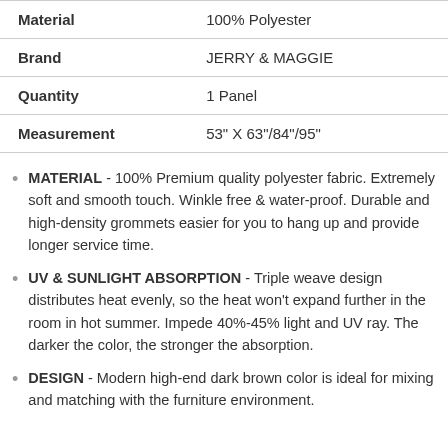| Material | 100% Polyester |
| Brand | JERRY & MAGGIE |
| Quantity | 1 Panel |
| Measurement | 53" X 63"/84"/95" |
MATERIAL - 100% Premium quality polyester fabric. Extremely soft and smooth touch. Winkle free & water-proof. Durable and high-density grommets easier for you to hang up and provide longer service time.
UV & SUNLIGHT ABSORPTION - Triple weave design distributes heat evenly, so the heat won't expand further in the room in hot summer. Impede 40%-45% light and UV ray. The darker the color, the stronger the absorption.
DESIGN - Modern high-end dark brown color is ideal for mixing and matching with the furniture environment.